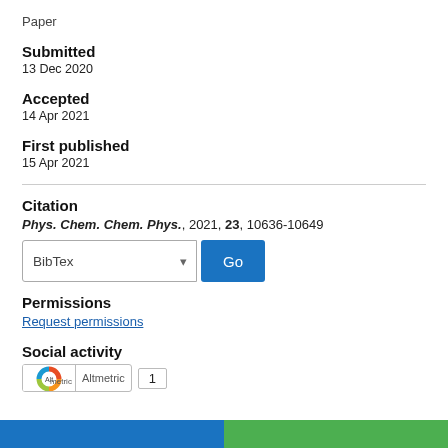Paper
Submitted
13 Dec 2020
Accepted
14 Apr 2021
First published
15 Apr 2021
Citation
Phys. Chem. Chem. Phys., 2021, 23, 10636-10649
Permissions
Request permissions
Social activity
Altmetric 1